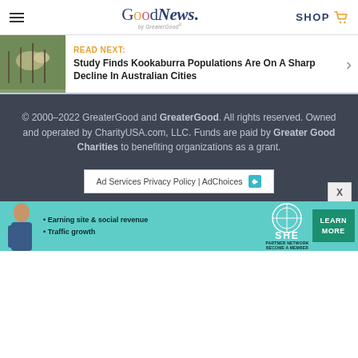GoodNews. by GreaterGood | SHOP
READ NEXT: Study Finds Kookaburra Populations Are On A Sharp Decline In Australian Cities
© 2000–2022 GreaterGood and GreaterGood. All rights reserved. Owned and operated by CharityUSA.com, LLC. Funds are paid by Greater Good Charities to benefiting organizations as a grant.
Ad Services Privacy Policy | AdChoices
[Figure (other): SHE Partner Network advertisement banner with woman, text 'Earning site & social revenue', 'Traffic growth', and a LEARN MORE button]